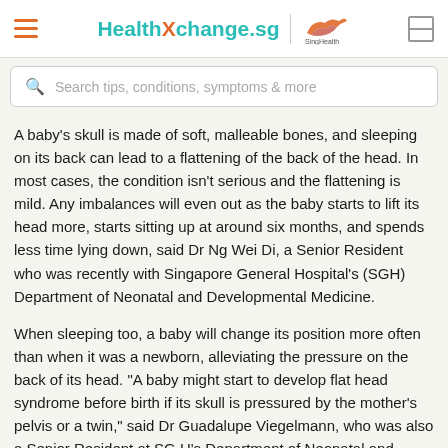HealthXchange.sg | SingHealth
Search tips, conditions, symptoms & more
A baby's skull is made of soft, malleable bones, and sleeping on its back can lead to a flattening of the back of the head. In most cases, the condition isn't serious and the flattening is mild. Any imbalances will even out as the baby starts to lift its head more, starts sitting up at around six months, and spends less time lying down, said Dr Ng Wei Di, a Senior Resident who was recently with Singapore General Hospital's (SGH) Department of Neonatal and Developmental Medicine.
When sleeping too, a baby will change its position more often than when it was a newborn, alleviating the pressure on the back of its head. "A baby might start to develop flat head syndrome before birth if its skull is pressured by the mother's pelvis or a twin," said Dr Guadalupe Viegelmann, who was also a Senior Resident at SG H's Department of Neonatal and Developmental